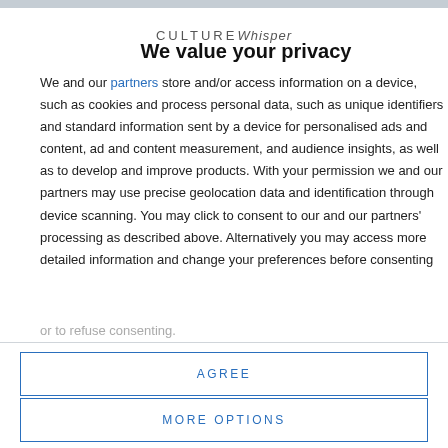CultureWhisper
We value your privacy
We and our partners store and/or access information on a device, such as cookies and process personal data, such as unique identifiers and standard information sent by a device for personalised ads and content, ad and content measurement, and audience insights, as well as to develop and improve products. With your permission we and our partners may use precise geolocation data and identification through device scanning. You may click to consent to our and our partners' processing as described above. Alternatively you may access more detailed information and change your preferences before consenting or to refuse consenting.
AGREE
MORE OPTIONS